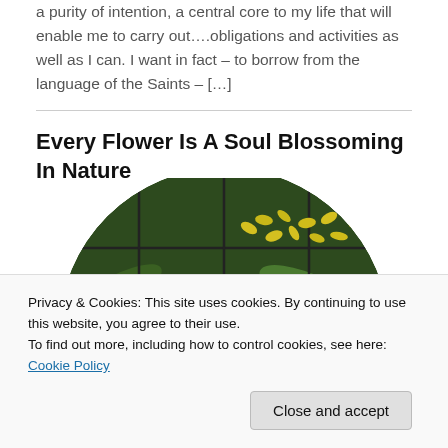a purity of intention, a central core to my life that will enable me to carry out….obligations and activities as well as I can. I want in fact – to borrow from the language of the Saints – […]
Every Flower Is A Soul Blossoming In Nature
[Figure (photo): Circular photo of yellow flowers with green leaves behind a wire grid fence structure]
Privacy & Cookies: This site uses cookies. By continuing to use this website, you agree to their use.
To find out more, including how to control cookies, see here: Cookie Policy
Close and accept